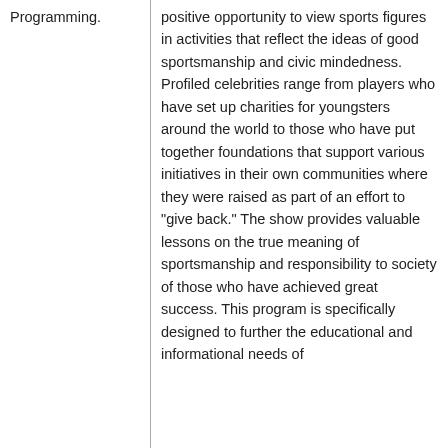| Programming. | positive opportunity to view sports figures in activities that reflect the ideas of good sportsmanship and civic mindedness. Profiled celebrities range from players who have set up charities for youngsters around the world to those who have put together foundations that support various initiatives in their own communities where they were raised as part of an effort to "give back." The show provides valuable lessons on the true meaning of sportsmanship and responsibility to society of those who have achieved great success. This program is specifically designed to further the educational and informational needs of |